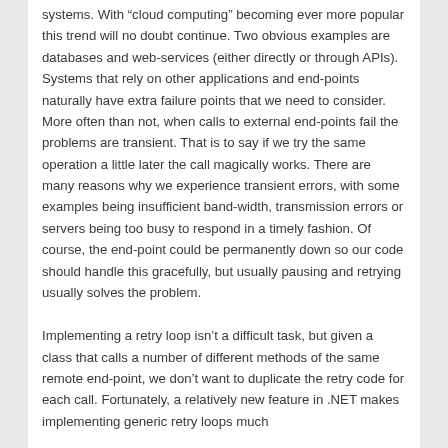systems. With “cloud computing” becoming ever more popular this trend will no doubt continue. Two obvious examples are databases and web-services (either directly or through APIs). Systems that rely on other applications and end-points naturally have extra failure points that we need to consider. More often than not, when calls to external end-points fail the problems are transient. That is to say if we try the same operation a little later the call magically works. There are many reasons why we experience transient errors, with some examples being insufficient band-width, transmission errors or servers being too busy to respond in a timely fashion. Of course, the end-point could be permanently down so our code should handle this gracefully, but usually pausing and retrying usually solves the problem.
Implementing a retry loop isn’t a difficult task, but given a class that calls a number of different methods of the same remote end-point, we don’t want to duplicate the retry code for each call. Fortunately, a relatively new feature in .NET makes implementing generic retry loops much